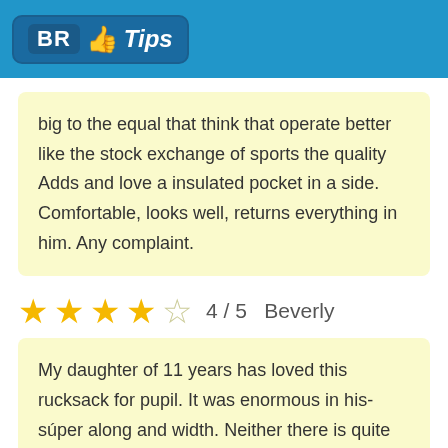BR Tips
big to the equal that think that operate better like the stock exchange of sports the quality Adds and love a insulated pocket in a side. Comfortable, looks well, returns everything in him. Any complaint.
4 / 5   Beverly
My daughter of 11 years has loved this rucksack for pupil. It was enormous in his- súper along and width. Neither there is quite soiled for his book and of the dossiers. There is no small containers